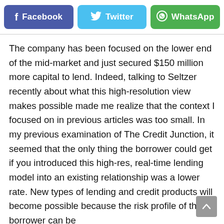[Figure (other): Social share buttons row: Facebook (dark blue), Twitter (light blue), WhatsApp (green)]
The company has been focused on the lower end of the mid-market and just secured $150 million more capital to lend. Indeed, talking to Seltzer recently about what this high-resolution view makes possible made me realize that the context I focused on in previous articles was too small. In my previous examination of The Credit Junction, it seemed that the only thing the borrower could get if you introduced this high-res, real-time lending model into an existing relationship was a lower rate. New types of lending and credit products will become possible because the risk profile of the borrower can be determined in detail. Extraordinarily, the data to...